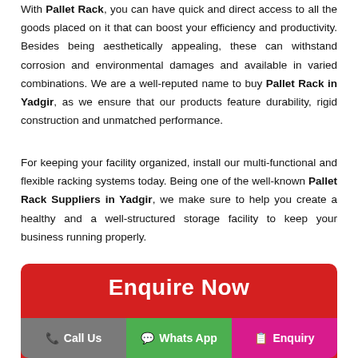With Pallet Rack, you can have quick and direct access to all the goods placed on it that can boost your efficiency and productivity. Besides being aesthetically appealing, these can withstand corrosion and environmental damages and available in varied combinations. We are a well-reputed name to buy Pallet Rack in Yadgir, as we ensure that our products feature durability, rigid construction and unmatched performance.
For keeping your facility organized, install our multi-functional and flexible racking systems today. Being one of the well-known Pallet Rack Suppliers in Yadgir, we make sure to help you create a healthy and a well-structured storage facility to keep your business running properly.
[Figure (infographic): Red rounded banner with 'Enquire Now' title and three buttons: Call Us (grey), Whats App (green), Enquiry (pink/magenta)]